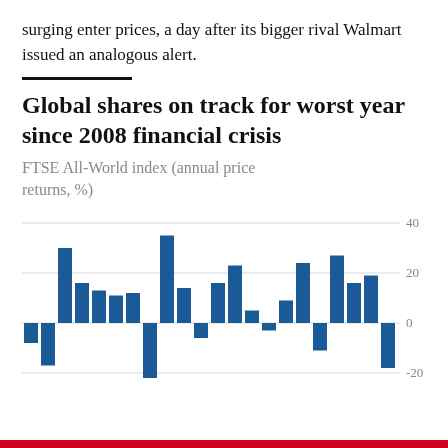surging enter prices, a day after its bigger rival Walmart issued an analogous alert.
Global shares on track for worst year since 2008 financial crisis
FTSE All-World index (annual price returns, %)
[Figure (bar-chart): FTSE All-World index (annual price returns, %)]